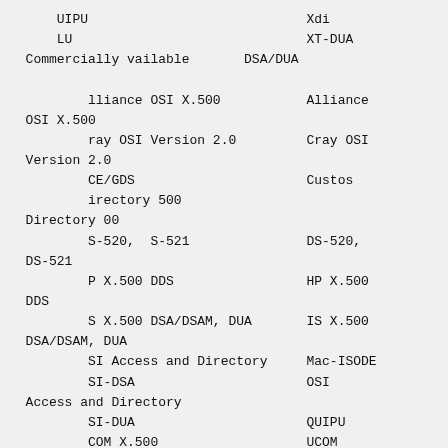UIPU                            Xdi
      LU                              XT-DUA
  Commercially vailable       DSA/DUA

          lliance OSI X.500           Alliance OSI X.500
          ray OSI Version 2.0         Cray OSI Version 2.0
          CE/GDS                      Custos
          irectory 500
  Directory 00
          S-520,  S-521               DS-520, DS-521
          P X.500 DDS                 HP X.500 DDS
          S X.500 DSA/DSAM, DUA       IS X.500 DSA/DSAM, DUA
          SI Access and Directory     Mac-ISODE
          SI-DSA                      OSI Access and Directory
          SI-DUA                      QUIPU
          COM X.500                   UCOM X.500